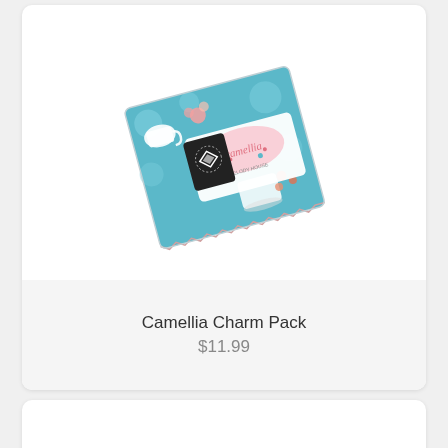[Figure (photo): Camellia Charm Pack product photo showing a stack of quilting fabric squares with a teal/blue background featuring teacups, flowers and dots pattern, with a label showing 'camellia' branding, slightly rotated]
Camellia Charm Pack
$11.99